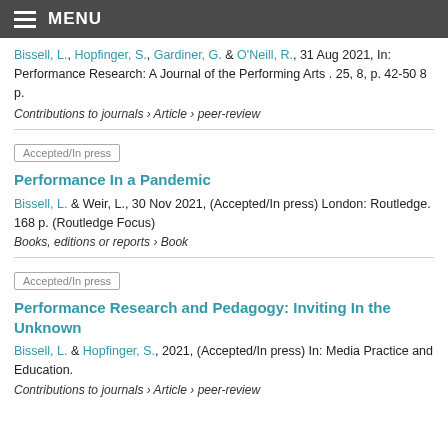MENU
Bissell, L., Hopfinger, S., Gardiner, G. & O'Neill, R., 31 Aug 2021, In: Performance Research: A Journal of the Performing Arts . 25, 8, p. 42-50 8 p.
Contributions to journals › Article › peer-review
Accepted/In press
Performance In a Pandemic
Bissell, L. & Weir, L., 30 Nov 2021, (Accepted/In press) London: Routledge. 168 p. (Routledge Focus)
Books, editions or reports › Book
Accepted/In press
Performance Research and Pedagogy: Inviting In the Unknown
Bissell, L. & Hopfinger, S., 2021, (Accepted/In press) In: Media Practice and Education.
Contributions to journals › Article › peer-review